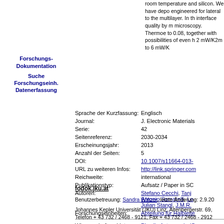room temperature and silicon. We have deposited engineered for lateral to the multilayer. In the interface quality by m microscopy. Thermoe to 0.08, together with possibilities of even h 2 mW/K2m to 6 mW/K
Forschungs-
Dokumentation
Suche
Forschungseinh.
Datenerfassung
| Field | Value |
| --- | --- |
| Sprache der Kurzfassung: | Englisch |
| Journal: | J. Electronic Materials |
| Serie: | 42 |
| Seitenreferenz: | 2030-2034 |
| Erscheinungsjahr: | 2013 |
| Anzahl der Seiten: | 5 |
| DOI: | 10.1007/s11664-013-... |
| URL zu weiteren Infos: | http://link.springer.com |
| Reichweite: | international |
| Publikationstyp: | Aufsatz / Paper in SC... |
| Autoren: | Stefano Cecchi, Tanja...
Antonio Samarelli, Lo...
Julian Stangl, J.M.R.... |
| Forschungseinheiten: | Abteilung für Halbleite... |
| Field | Value |
| --- | --- |
| Wissenschaftsgebiete: | Physik, Astronomie (G... |
fodok.jku.at
Benutzerbetreuung: Sandra Winzer, letzte Änderung: 2.9.20
Johannes Kepler Universität (JKU) Linz, Altenbergerstr. 69,
Telefon + 43 732 / 2468 - 9121, Fax + 43 732 / 2468 - 2912